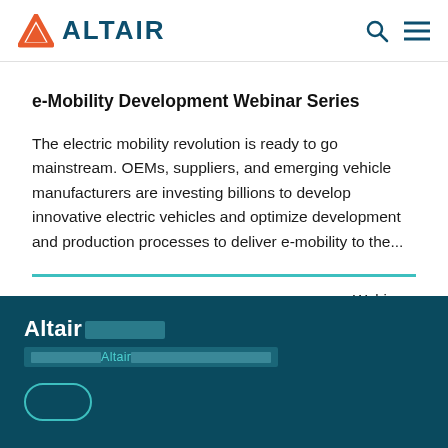ALTAIR (logo with navigation icons)
e-Mobility Development Webinar Series
The electric mobility revolution is ready to go mainstream. OEMs, suppliers, and emerging vehicle manufacturers are investing billions to develop innovative electric vehicles and optimize development and production processes to deliver e-mobility to the...
Webinars
Altair [redacted]
[redacted] Altair [redacted]